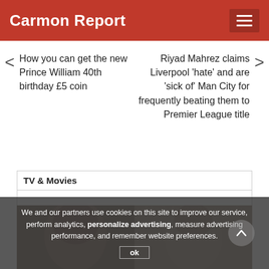Carmon Report
How you can get the new Prince William 40th birthday £5 coin
Riyad Mahrez claims Liverpool 'hate' and are 'sick of' Man City for frequently beating them to Premier League title
TV & Movies
[Figure (photo): Two people's faces side by side, partially visible, partially overlaid by cookie consent banner]
We and our partners use cookies on this site to improve our service, perform analytics, personalize advertising, measure advertising performance, and remember website preferences.